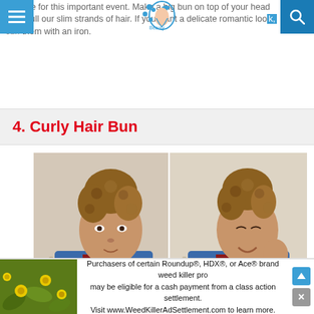suitable for this important event. Make a big bun on top of your head and pull our slim strands of hair. If you want a delicate romantic look, curl them with an iron.
4. Curly Hair Bun
[Figure (photo): Two side-by-side photos of a woman with curly hair styled in a high bun with bangs, wearing a blue and red patterned shirt. Left photo is a straight-on portrait; right photo shows her smiling and touching her face.]
you have Afro-American hair, a bun hairstyle with bangs is
Purchasers of certain Roundup®, HDX®, or Ace® brand weed killer products may be eligible for a cash payment from a class action settlement. Visit www.WeedKillerAdSettlement.com to learn more.